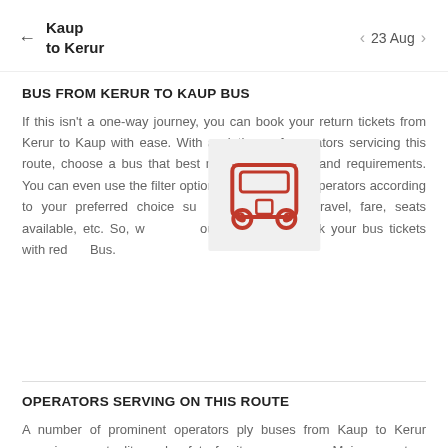Kaup to Kerur | 23 Aug
BUS FROM KERUR TO KAUP BUS
If this isn't a one-way journey, you can book your return tickets from Kerur to Kaup with ease. With a plethora of operators servicing this route, choose a bus that best meets your needs and requirements. You can even use the filter option to arrange the operators according to your preferred choice such as duration of travel, fare, seats available, etc. So, what are you waiting for? Book your bus tickets with redBus.
[Figure (illustration): Red bus icon illustration centered over the text block]
OPERATORS SERVING ON THIS ROUTE
A number of prominent operators ply buses from Kaup to Kerur ensuring punctuality and safety for its passengers. Major operators offering various kinds of bus services are: